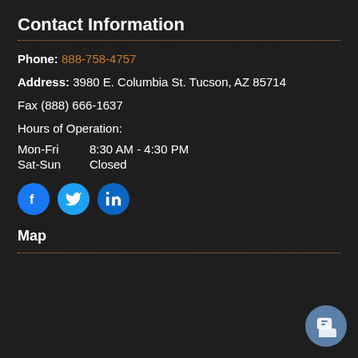Contact Information
Phone: 888-758-4757
Address: 3980 E. Columbia St. Tucson, AZ 85714
Fax (888) 666-1637
Hours of Operation:
Mon-Fri  8:30 AM - 4:30 PM
Sat-Sun  Closed
[Figure (illustration): Social media icons: Facebook, Twitter, LinkedIn]
Map
[Figure (screenshot): Chat popup widget with avatar and text: Do you need safety training or consulting?]